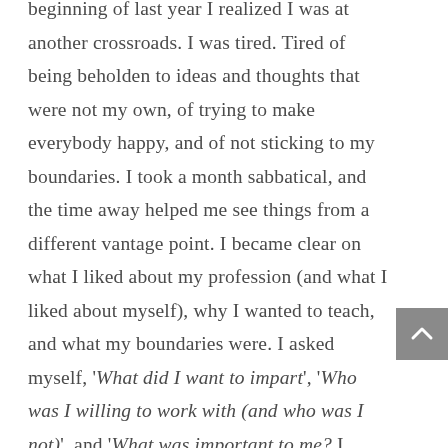beginning of last year I realized I was at another crossroads. I was tired. Tired of being beholden to ideas and thoughts that were not my own, of trying to make everybody happy, and of not sticking to my boundaries. I took a month sabbatical, and the time away helped me see things from a different vantage point. I became clear on what I liked about my profession (and what I liked about myself), why I wanted to teach, and what my boundaries were. I asked myself, 'What did I want to impart', 'Who was I willing to work with (and who was I not)', and 'What was important to me? I worked on channelling my energy from 'have to do's' to